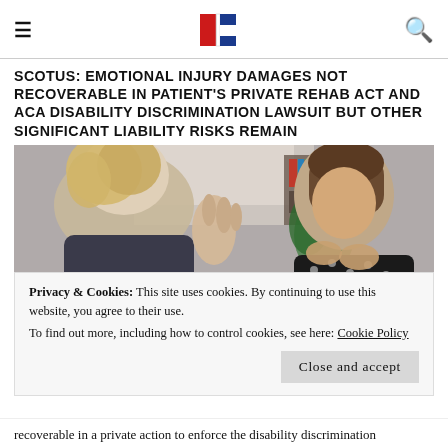≡  [logo]  🔍
SCOTUS: EMOTIONAL INJURY DAMAGES NOT RECOVERABLE IN PATIENT'S PRIVATE REHAB ACT AND ACA DISABILITY DISCRIMINATION LAWSUIT BUT OTHER SIGNIFICANT LIABILITY RISKS REMAIN
[Figure (photo): Two women in conversation across a table; one has curly blonde hair with her back to camera, the other has long brown hair and is speaking with hand gestures, wearing a black polka-dot blouse. Bookshelves and a plant visible in background.]
Privacy & Cookies: This site uses cookies. By continuing to use this website, you agree to their use.
To find out more, including how to control cookies, see here: Cookie Policy
Close and accept
recoverable in a private action to enforce the disability discrimination